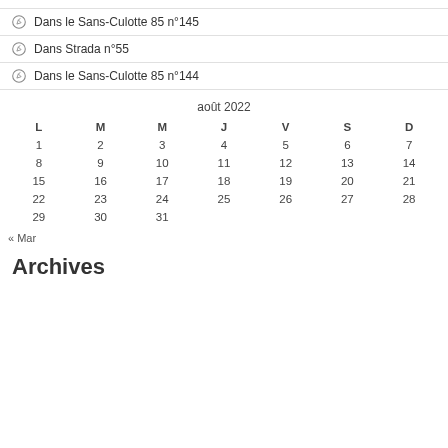Dans le Sans-Culotte 85 n°145
Dans Strada n°55
Dans le Sans-Culotte 85 n°144
| L | M | M | J | V | S | D |
| --- | --- | --- | --- | --- | --- | --- |
| 1 | 2 | 3 | 4 | 5 | 6 | 7 |
| 8 | 9 | 10 | 11 | 12 | 13 | 14 |
| 15 | 16 | 17 | 18 | 19 | 20 | 21 |
| 22 | 23 | 24 | 25 | 26 | 27 | 28 |
| 29 | 30 | 31 |  |  |  |  |
« Mar
Archives